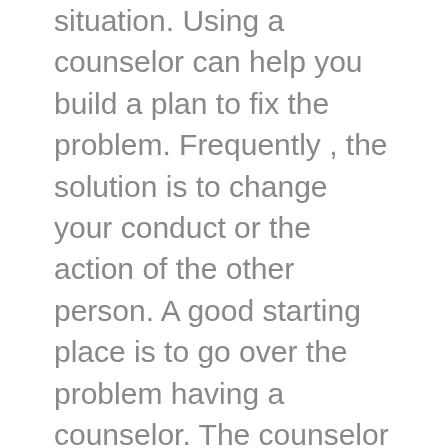situation. Using a counselor can help you build a plan to fix the problem. Frequently , the solution is to change your conduct or the action of the other person. A good starting place is to go over the problem having a counselor. The counselor will let you generate a plan on how to deal with the problem and prevent any further issue. During the examination, you can also talk about the way frontward.
It is also significant to recollect that a platonic relationship differs from the others from a romantic one. Therefore there are not any expectations and less pressure on both equally partners to acquire sex. There are